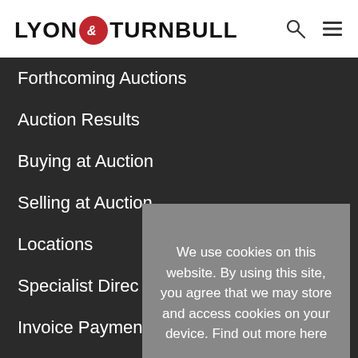[Figure (logo): Lyon & Turnbull auction house logo with red circular ampersand icon]
Forthcoming Auctions
Auction Results
Buying at Auction
Selling at Auction
Locations
Specialist Direc[tory]
Invoice Paymen[t]
Upcoming Valu[ations]
About Us
Events Calenda[r]
We use cookies on this website. By using this site, you agree that we may store and access cookies on your device. Find out more here

OK